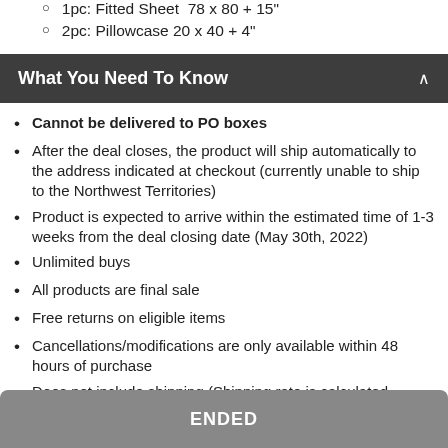1pc: Fitted Sheet  78 x 80 + 15"
2pc: Pillowcase 20 x 40 + 4"
What You Need To Know
Cannot be delivered to PO boxes
After the deal closes, the product will ship automatically to the address indicated at checkout (currently unable to ship to the Northwest Territories)
Product is expected to arrive within the estimated time of 1-3 weeks from the deal closing date (May 30th, 2022)
Unlimited buys
All products are final sale
Free returns on eligible items
Cancellations/modifications are only available within 48 hours of purchase
Does not include shipping (Shipping rate is calculated
ENDED